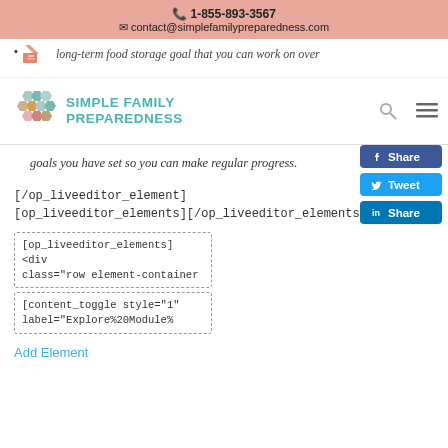📞 1-855-893-3567
✉ contact@simplefamilypreparedness.com
[Figure (logo): Simple Family Preparedness logo with hexagonal honeycomb icon and teal text]
long-term food storage goal that you can work on over
goals you have set so you can make regular progress.
[/op_liveeditor_element]
[op_liveeditor_elements][/op_liveeditor_elements]
[op_liveeditor_elements] <div class="row element-container
[content_toggle style="1" label="Explore%20Module%
Add Element